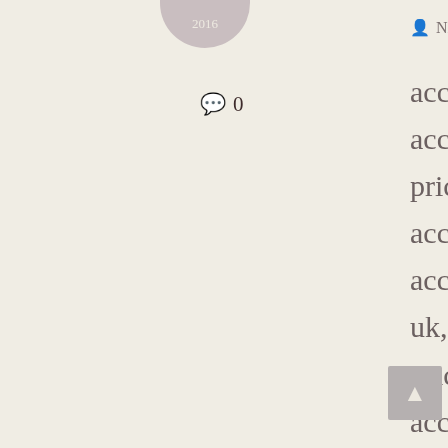[Figure (illustration): Circular badge with text '2016' on pinkish-grey background at top]
💬 0
👤 Nileshbhai Adesara | 🏷
accutane, accutane 20 mg price, accutane 40 mg cost, accutane 40 mg price, accutane before and after, accutane buy, accutane buy online, accutane buy online uk, accutane buy uk, accutane cheap, accutane cheapest price, accutane cost australia, accutane cost canada, accutane cost in canada, accutane cost no insurance, accutane cost per month, accutane cost uk, accutane cost walmart,